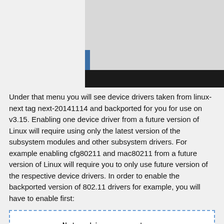[Figure (screenshot): A screenshot showing a UI window with a blue border, a grey top area, and a dark bottom bar.]
Under that menu you will see device drivers taken from linux-next tag next-20141114 and backported for you for use on v3.15. Enabling one device driver from a future version of Linux will require using only the latest version of the subsystem modules and other subsystem drivers. For example enabling cfg80211 and mac80211 from a future version of Linux will require you to only use future version of the respective device drivers. In order to enable the backported version of 802.11 drivers for example, you will have to enable first:
But under that menu disable all options. You will also need to now disable all 802.11 device drivers under (including CONFIG_WLAN)